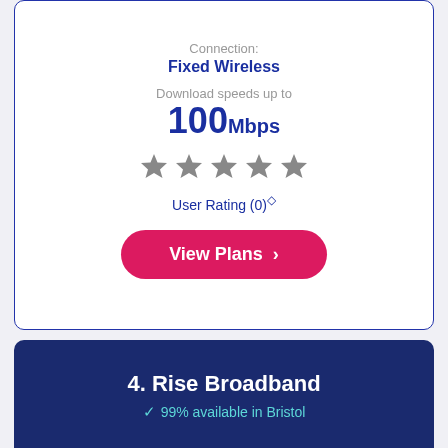Connection:
Fixed Wireless
Download speeds up to
100Mbps
[Figure (other): Five grey star icons representing a star rating]
User Rating (0)◇
View Plans ›
4. Rise Broadband
✓ 99% available in Bristol